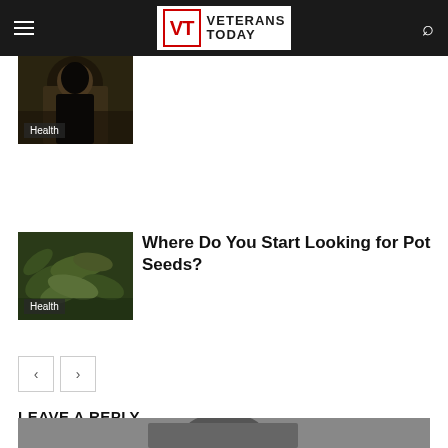Veterans Today
[Figure (photo): Thumbnail image of a person with Health badge overlay]
[Figure (photo): Thumbnail image of cannabis/pot leaves with Health badge overlay]
Where Do You Start Looking for Pot Seeds?
Pagination: previous and next buttons
LEAVE A REPLY
LOG IN TO LEAVE A COMMENT
[Figure (photo): Black and white photo at the bottom of the page]